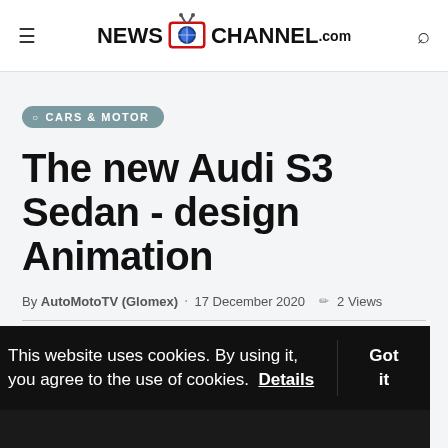NEWS CHANNEL.com
CARS & MOTOR
The new Audi S3 Sedan - design Animation
By AutoMotoTV (Glomex) · 17 December 2020 2 Views
This website uses cookies. By using it, you agree to the use of cookies. Details  Got it